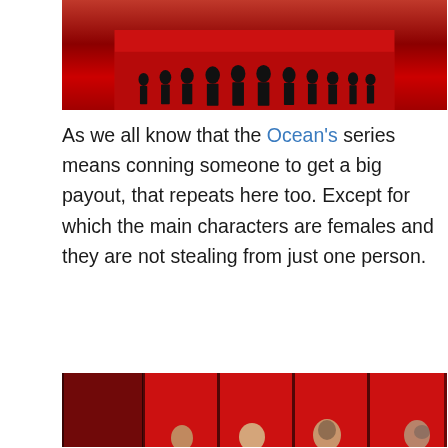[Figure (photo): Top portion of a movie poster for Ocean's 8 (or similar), showing silhouettes of people against a red background]
As we all know that the Ocean's series means conning someone to get a big payout, that repeats here too. Except for which the main characters are females and they are not stealing from just one person.
[Figure (photo): Bottom portion of a movie poster showing cast members' faces partially visible against a red background with vertical dark panels]
Debbie's been jailed for 5 years for committing felony which she had nothing to do with and she got released on a parole